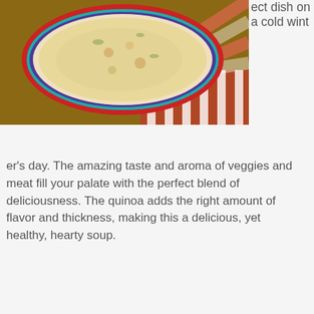[Figure (photo): Bowl of quinoa soup with vegetables and meat, viewed from above on a wooden board with striped cloth]
ect dish on a cold winter's day. The amazing taste and aroma of veggies and meat fill your palate with the perfect blend of deliciousness. The quinoa adds the right amount of flavor and thickness, making this a delicious, yet healthy, hearty soup.
[Figure (photo): Close-up bowl of creamy quinoa soup with vegetables in a colorful striped bowl (blue, white, orange) on a wooden slat surface]
There’s nothing better than a